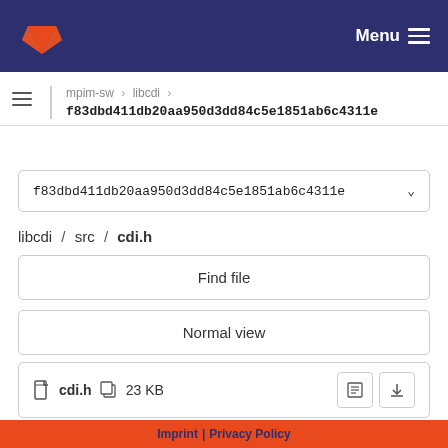GitLab — Menu
mpim-sw › libcdi › f83dbd411db20aa950d3dd84c5e1851ab6c4311e
f83dbd411db20aa950d3dd84c5e1851ab6c4311e
libcdi / src / cdi.h
Find file
Normal view
History
Permalink
cdi.h  23 KB
Imprint | Privacy Policy